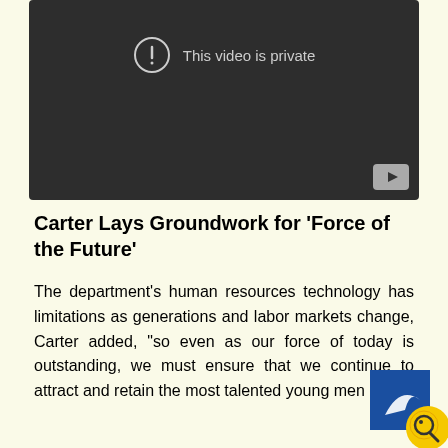[Figure (screenshot): Video player showing 'This video is private' message with a warning icon and YouTube play button in the bottom right corner. Dark background.]
Carter Lays Groundwork for ‘Force of the Future’
The department’s human resources technology has limitations as generations and labor markets change, Carter added, “so even as our force of today is outstanding, we must ensure that we continue to attract and retain the most talented young men